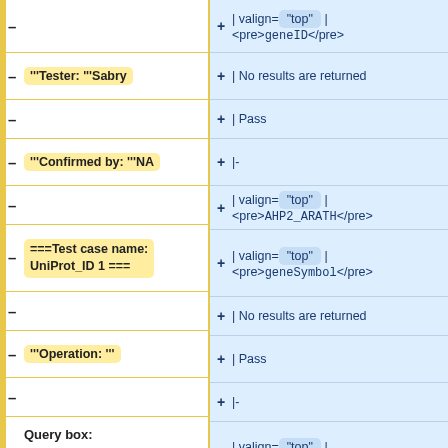| Left column (diff) | Right column (diff) |
| --- | --- |
|  | | valign="top" | <pre>geneID</pre> |
| –'''Tester: '''Sabry | +| No results are returned |
| – | +| Pass |
| –'''Confirmed by: '''NA | +|- |
| – | +| valign="top" | <pre>AHP2_ARATH</pre> |
| –===Test case name: UniProt_ID 1 === | +| valign="top" | <pre>geneSymbol</pre> |
| – | +| No results are returned |
| –'''Operation: ''' | +| Pass |
| – | +|- |
| –Query box: | +| valign="top" | <pre>AHP2_ARATH</pre> |
| – | +| valign="top" | <pre>ipi</pre> |
| – AHP2_ARATH | +| No results are returned |